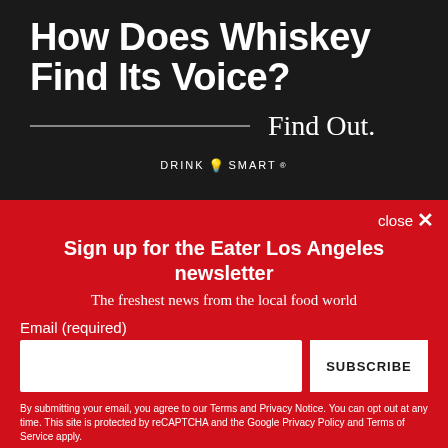[Figure (illustration): Advertisement on dark leather background with large white bold text 'How Does Whiskey Find Its Voice?' and 'Find Out.' with a horizontal divider line and 'DRINK SMART®' branding at bottom]
close ×
Sign up for the Eater Los Angeles newsletter
The freshest news from the local food world
Email (required)
SUBSCRIBE
By submitting your email, you agree to our Terms and Privacy Notice. You can opt out at any time. This site is protected by reCAPTCHA and the Google Privacy Policy and Terms of Service apply.